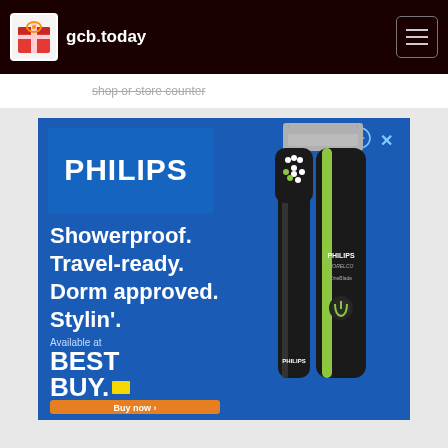gcb.today
shop or store counter
[Figure (illustration): Philips advertisement showing Philips Norelco OneBlade grooming product and a toothbrush on a blue background with text: Showerproof. Travel-ready. Dorm approved. Stylin'. Available at Best Buy. Buy now button.]